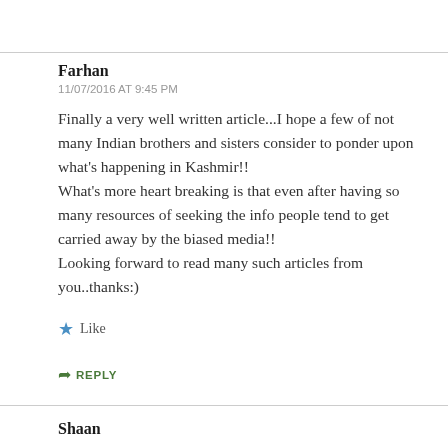Farhan
11/07/2016 AT 9:45 PM
Finally a very well written article...I hope a few of not many Indian brothers and sisters consider to ponder upon what's happening in Kashmir!! What's more heart breaking is that even after having so many resources of seeking the info people tend to get carried away by the biased media!! Looking forward to read many such articles from you..thanks:)
Like
REPLY
Shaan